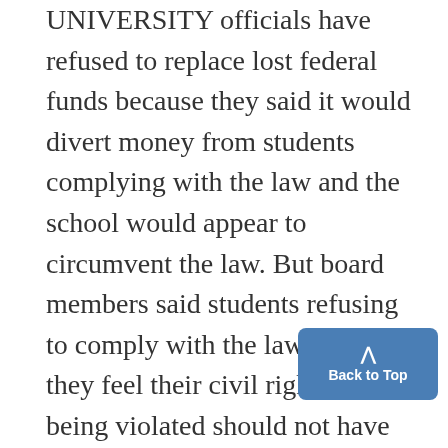UNIVERSITY officials have refused to replace lost federal funds because they said it would divert money from students complying with the law and the school would appear to circumvent the law. But board members said students refusing to comply with the law because they feel their civil rights are being violated should not have their education interrupted. The board will also ask the faculty Senate Assembly and the Michigan Student. Assembly to back their